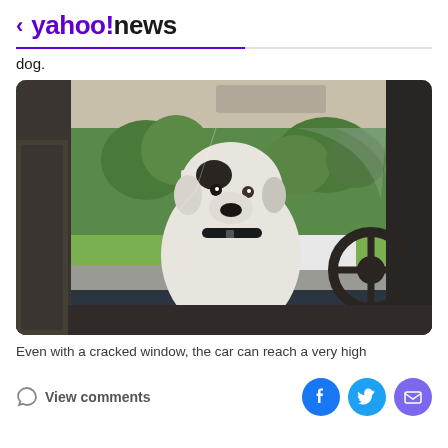< yahoo!news
dog.
[Figure (photo): A white and black dog sitting in the driver's seat of a car, viewed through the windshield. The dog wears a black collar. Green trees and a park are visible through the side window.]
Even with a cracked window, the car can reach a very high
View comments